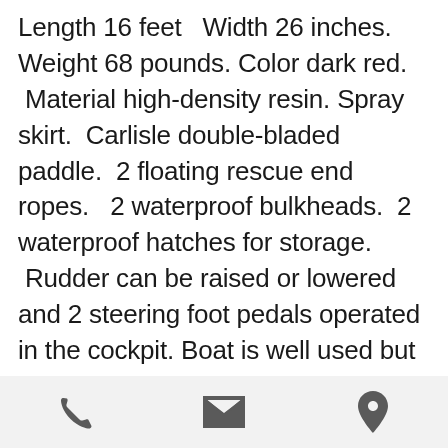Length 16 feet   Width 26 inches. Weight 68 pounds. Color dark red.  Material high-density resin. Spray skirt.  Carlisle double-bladed paddle.  2 floating rescue end ropes.   2 waterproof bulkheads.  2 waterproof hatches for storage.  Rudder can be raised or lowered and 2 steering foot pedals operated in the cockpit. Boat is well used but in excellent condition. Nothing broken, worn through, torn up or badly scratched. New price $1,300. Sale price $500 or best offer. Delivery up to 100 miles for $100. Or pick up at 121 Randomwood
[Figure (other): Bottom navigation bar with three icons: phone (call), envelope (email), and map pin (location)]